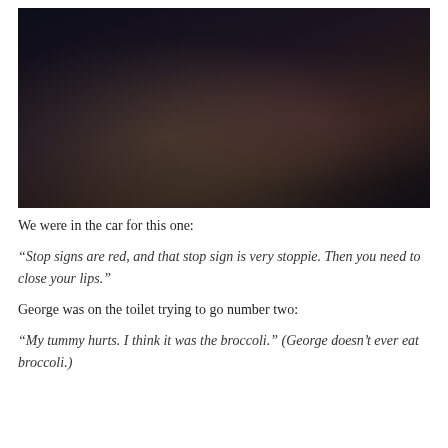[Figure (photo): Dark, low-light photo of what appears to be a child in a car or dim indoor setting, very dark tones with some warm highlights]
We were in the car for this one:
“Stop signs are red, and that stop sign is very stoppie. Then you need to close your lips.”
George was on the toilet trying to go number two:
“My tummy hurts. I think it was the broccoli.” (George doesn’t ever eat broccoli.)